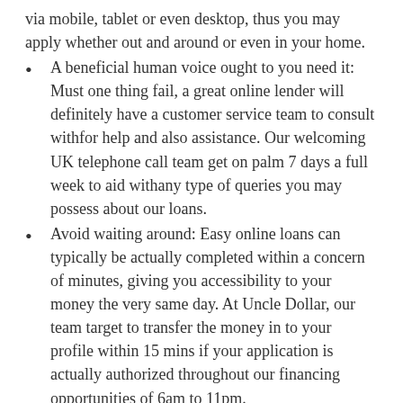via mobile, tablet or even desktop, thus you may apply whether out and around or even in your home.
A beneficial human voice ought to you need it: Must one thing fail, a great online lender will definitely have a customer service team to consult withfor help and also assistance. Our welcoming UK telephone call team get on palm 7 days a full week to aid withany type of queries you may possess about our loans.
Avoid waiting around: Easy online loans can typically be actually completed within a concern of minutes, giving you accessibility to your money the very same day. At Uncle Dollar, our team target to transfer the money in to your profile within 15 mins if your application is actually authorized throughout our financing opportunities of 6am to 11pm.
No underwriter needed to have: Easy online loans often wear't require an underwriter, allowing you to safeguard a easy loans online without must problem family or friends.